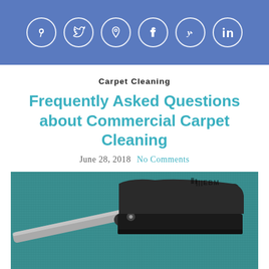Social media icons: Pinterest, Twitter, Location, Facebook, Yelp, LinkedIn
Carpet Cleaning
Frequently Asked Questions about Commercial Carpet Cleaning
June 28, 2018   No Comments
[Figure (photo): Close-up photo of a vacuum cleaner head on a teal/dark green carpet, with a chrome wand extending to the left. A watermark logo 'EBM' appears in the upper right of the photo.]